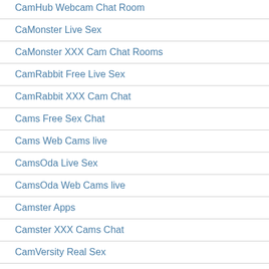CamHub Webcam Chat Room
CaMonster Live Sex
CaMonster XXX Cam Chat Rooms
CamRabbit Free Live Sex
CamRabbit XXX Cam Chat
Cams Free Sex Chat
Cams Web Cams live
CamsOda Live Sex
CamsOda Web Cams live
Camster Apps
Camster XXX Cams Chat
CamVersity Real Sex
CamVersity XXX Cam Chat
CamWithHer Hot Live Porn
CamWithHer Web Cams live